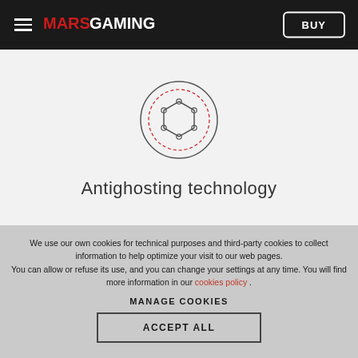MARS GAMING | BUY
[Figure (illustration): Antighosting technology icon: a hexagon with circular nodes at vertices, enclosed in a dashed red circle and a solid dark circle outline]
Antighosting technology
We use our own cookies for technical purposes and third-party cookies to collect information to help optimize your visit to our web pages.
You can allow or refuse its use, and you can change your settings at any time. You will find more information in our cookies policy .
MANAGE COOKIES
ACCEPT ALL